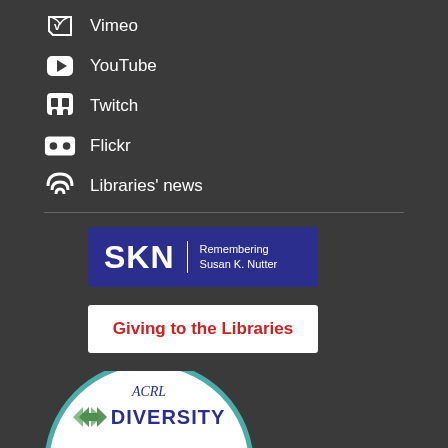Vimeo
YouTube
Twitch
Flickr
Libraries' news
[Figure (logo): SKN - Remembering Susan K. Nutter banner with dark blue background]
[Figure (logo): Giving to the Libraries button with white background and red bold text]
[Figure (logo): ACRL Diversity Alliance oval logo with white background and teal border, partially visible]